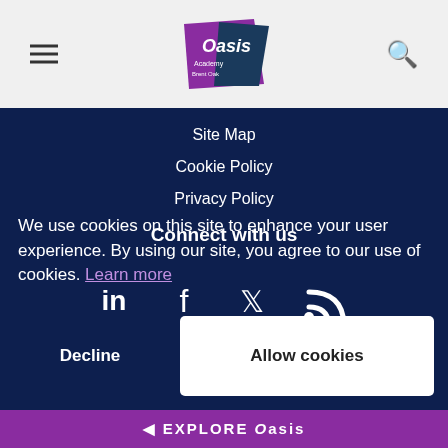Oasis Academy Brent Oak — site header with hamburger menu and search icon
Site Map
Cookie Policy
Privacy Policy
Connect with us
[Figure (infographic): Social media icons: LinkedIn, Facebook, Twitter, RSS feed]
We use cookies on this site to enhance your user experience. By using our site, you agree to our use of cookies. Learn more
Decline | Allow cookies
◄ EXPLORE Oasis